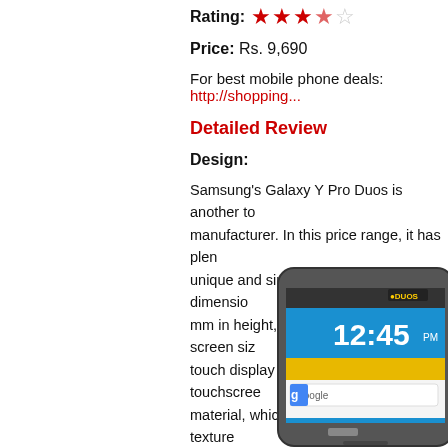Rating: ★★★½☆
Price: Rs. 9,690
For best mobile phone deals: http://shopping...
Detailed Review
Design:
Samsung's Galaxy Y Pro Duos is another to manufacturer. In this price range, it has plenty unique and simple to operate. The dimensions mm in height, width and depth. Its screen size touch display with TFT capacitive touchscreen material, which feels good and is well textured.
[Figure (photo): Samsung Galaxy Y Pro Duos smartphone showing the home screen with time 12:45 and Google search bar]